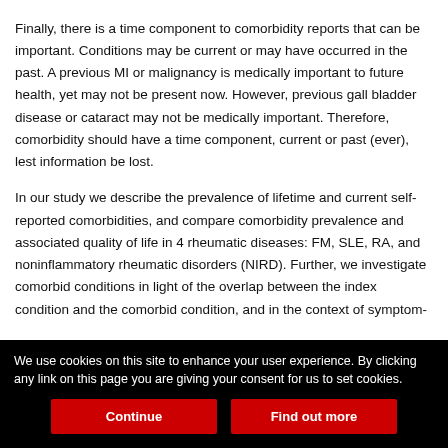Finally, there is a time component to comorbidity reports that can be important. Conditions may be current or may have occurred in the past. A previous MI or malignancy is medically important to future health, yet may not be present now. However, previous gall bladder disease or cataract may not be medically important. Therefore, comorbidity should have a time component, current or past (ever), lest information be lost.
In our study we describe the prevalence of lifetime and current self-reported comorbidities, and compare comorbidity prevalence and associated quality of life in 4 rheumatic diseases: FM, SLE, RA, and noninflammatory rheumatic disorders (NIRD). Further, we investigate comorbid conditions in light of the overlap between the index condition and the comorbid condition, and in the context of symptom-
We use cookies on this site to enhance your user experience. By clicking any link on this page you are giving your consent for us to set cookies.